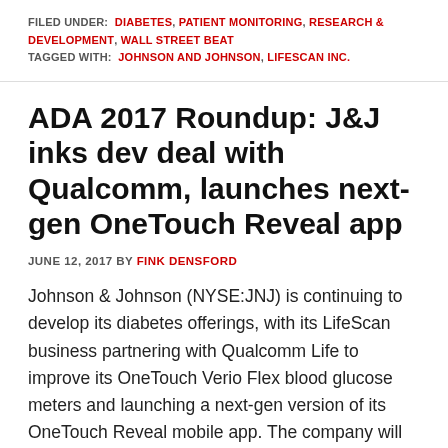FILED UNDER: DIABETES, PATIENT MONITORING, RESEARCH & DEVELOPMENT, WALL STREET BEAT
TAGGED WITH: JOHNSON AND JOHNSON, LIFESCAN INC.
ADA 2017 Roundup: J&J inks dev deal with Qualcomm, launches next-gen OneTouch Reveal app
JUNE 12, 2017 BY FINK DENSFORD
Johnson & Johnson (NYSE:JNJ) is continuing to develop its diabetes offerings, with its LifeScan business partnering with Qualcomm Life to improve its OneTouch Verio Flex blood glucose meters and launching a next-gen version of its OneTouch Reveal mobile app. The company will be partnering with the Qualcomm subsidiary to streamline wireless data